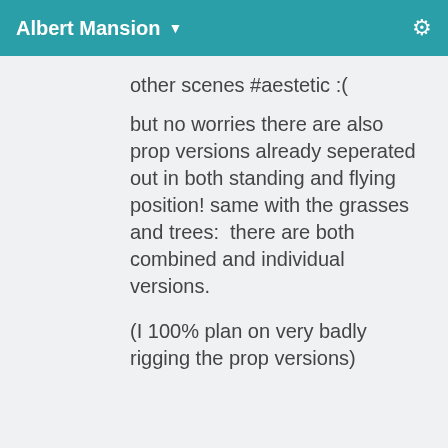Albert Mansion ▼
other scenes #aestetic :(
but no worries there are also prop versions already seperated out in both standing and flying position! same with the grasses and trees:  there are both combined and individual versions.
(I 100% plan on very badly rigging the prop versions)